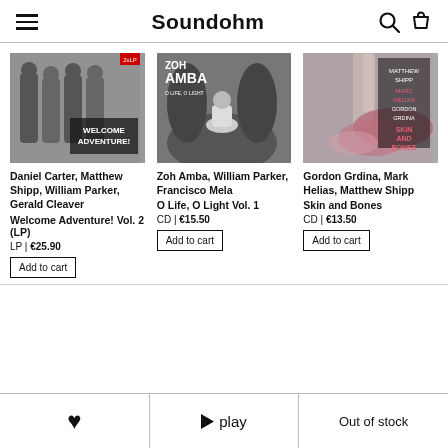Soundohm
[Figure (photo): Album cover for Welcome Adventure! Vol. 2 (LP) — black and white photo of four musicians standing in an urban setting]
Daniel Carter, Matthew Shipp, William Parker, Gerald Cleaver
Welcome Adventure! Vol. 2 (LP)
LP | €25.90
Add to cart
[Figure (photo): Album cover for O Life, O Light Vol. 1 — black and white photo of a person sitting cross-legged outdoors with text ZOH AMBA at top]
Zoh Amba, William Parker, Francisco Mela
O Life, O Light Vol. 1
CD | €15.50
Add to cart
[Figure (photo): Album cover for Skin and Bones — abstract painterly image with text Matthew Shipp, Marc Helias, Gordon Grdina, Skin and Bones]
Gordon Grdina, Mark Helias, Matthew Shipp
Skin and Bones
CD | €13.50
Add to cart
♥  ▶ play  Out of stock